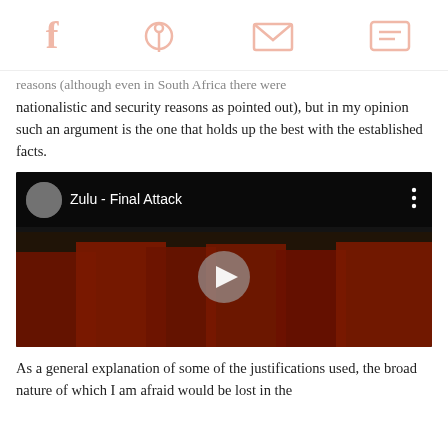Social share icons: Facebook, Pinterest, Email, Comment
reasons (although even in South Africa there were nationalistic and security reasons as pointed out), but in my opinion such an argument is the one that holds up the best with the established facts.
[Figure (screenshot): YouTube video embed showing 'Zulu - Final Attack' with a thumbnail of British soldiers in red uniforms from the Zulu film, with a play button overlay]
As a general explanation of some of the justifications used, the broad nature of which I am afraid would be lost in the